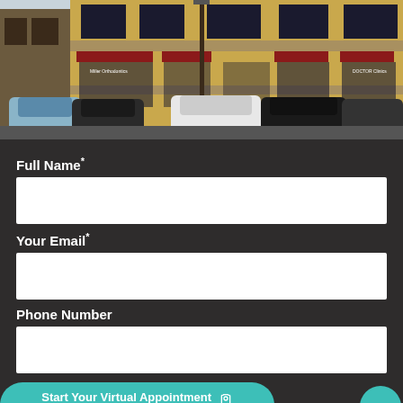[Figure (photo): Exterior photo of a commercial building with stone and stucco facade, red awnings, storefronts including Miller Orthodontics, and cars parked in front.]
Full Name*
Your Email*
Phone Number
Start Your Virtual Appointment 📷
powered by SmileSnap